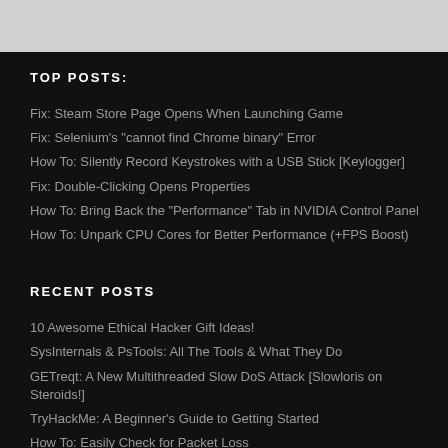TOP POSTS:
Fix: Steam Store Page Opens When Launching Game
Fix: Selenium's "cannot find Chrome binary" Error
How To: Silently Record Keystrokes with a USB Stick [Keylogger]
Fix: Double-Clicking Opens Properties
How To: Bring Back the "Performance" Tab in NVIDIA Control Panel
How To: Unpark CPU Cores for Better Performance (+FPS Boost)
RECENT POSTS
10 Awesome Ethical Hacker Gift Ideas!
SysInternals & PsTools: All The Tools & What They Do
GETreqt: A New Multithreaded Slow DoS Attack [Slowloris on Steroids!]
TryHackMe: A Beginner's Guide to Getting Started
How To: Easily Check for Packet Loss